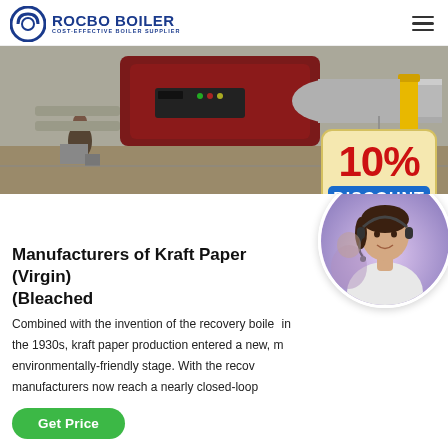ROCBO BOILER - COST-EFFECTIVE BOILER SUPPLIER
[Figure (photo): Industrial boiler equipment with pipes and machinery in a factory setting]
[Figure (other): 10% DISCOUNT promotional badge overlaid on photo]
Manufacturers of Kraft Paper (Virgin) (Bleached
Combined with the invention of the recovery boiler in the 1930s, kraft paper production entered a new, more environmentally-friendly stage. With the recovery, manufacturers now reach a nearly closed-loop
[Figure (photo): Customer service agent woman wearing headset, in circular frame]
Get Price